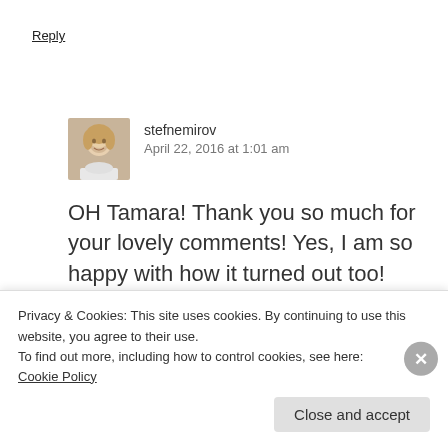Reply
[Figure (photo): Profile photo of stefnemirov, a woman with blonde hair]
stefnemirov
April 22, 2016 at 1:01 am
OH Tamara! Thank you so much for your lovely comments! Yes, I am so happy with how it turned out too!
Liked by 1 person
Privacy & Cookies: This site uses cookies. By continuing to use this website, you agree to their use.
To find out more, including how to control cookies, see here:
Cookie Policy
Close and accept